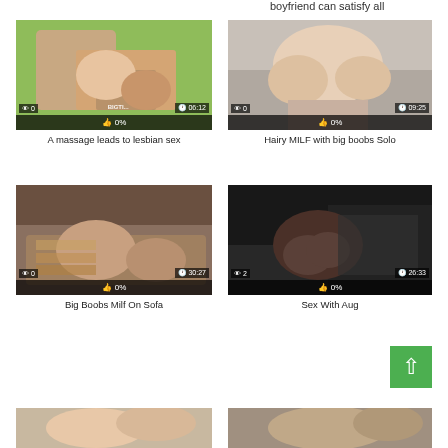boyfriend can satisfy all
[Figure (photo): Video thumbnail - massage/lesbian scene with overlay showing 0 views, 06:12 duration, 0% likes, BIGTI watermark]
A massage leads to lesbian sex
[Figure (photo): Video thumbnail - MILF solo scene with overlay showing 0 views, 09:25 duration, 0% likes]
Hairy MILF with big boobs Solo
[Figure (photo): Video thumbnail - couch scene with overlay showing 0 views, 30:27 duration, 0% likes]
Big Boobs Milf On Sofa
[Figure (photo): Video thumbnail - dark scene with overlay showing 2 views, 26:33 duration, 0% likes]
Sex With Aug
[Figure (photo): Partially visible video thumbnail at bottom left]
[Figure (photo): Partially visible video thumbnail at bottom right]